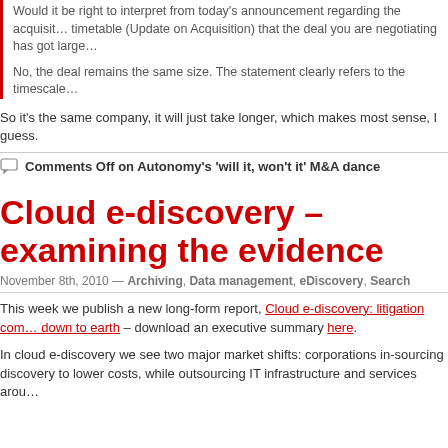Would it be right to interpret from today's announcement regarding the acquisition timetable (Update on Acquisition) that the deal you are negotiating has got large
No, the deal remains the same size. The statement clearly refers to the timescale
So it's the same company, it will just take longer, which makes most sense, I guess.
Comments Off on Autonomy's ‘will it, won’t it’ M&A dance
Cloud e-discovery – examining the evidence
November 8th, 2010 — Archiving, Data management, eDiscovery, Search
This week we publish a new long-form report, Cloud e-discovery: litigation com down to earth – download an executive summary here.
In cloud e-discovery we see two major market shifts: corporations in-sourcing discovery to lower costs, while outsourcing IT infrastructure and services arou